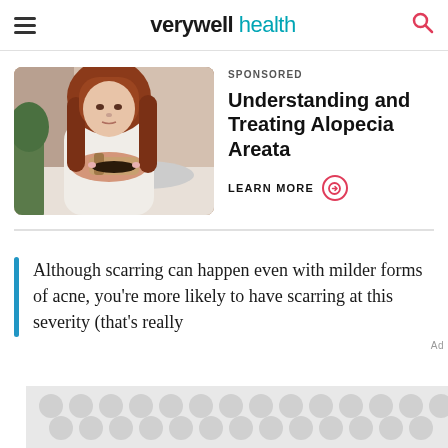verywell health
SPONSORED
[Figure (photo): Woman with long red hair in white towel looking at a hairbrush with hair on it, standing in a bathroom]
Understanding and Treating Alopecia Areata
LEARN MORE →
Although scarring can happen even with milder forms of acne, you're more likely to have scarring at this severity (that's really
[Figure (other): Advertisement banner placeholder with repeating circular logo pattern]